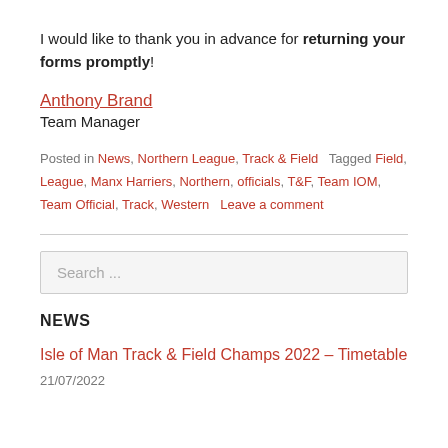I would like to thank you in advance for returning your forms promptly!
Anthony Brand
Team Manager
Posted in News, Northern League, Track & Field   Tagged Field, League, Manx Harriers, Northern, officials, T&F, Team IOM, Team Official, Track, Western   Leave a comment
Search ...
NEWS
Isle of Man Track & Field Champs 2022 – Timetable
21/07/2022